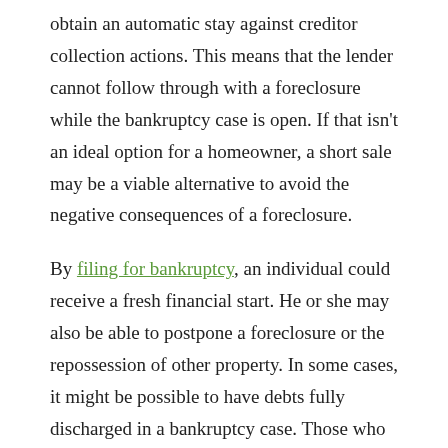obtain an automatic stay against creditor collection actions. This means that the lender cannot follow through with a foreclosure while the bankruptcy case is open. If that isn't an ideal option for a homeowner, a short sale may be a viable alternative to avoid the negative consequences of a foreclosure.
By filing for bankruptcy, an individual could receive a fresh financial start. He or she may also be able to postpone a foreclosure or the repossession of other property. In some cases, it might be possible to have debts fully discharged in a bankruptcy case. Those who own a home may be able to use an automatic stay as leverage to negotiate new loan terms with their lenders.